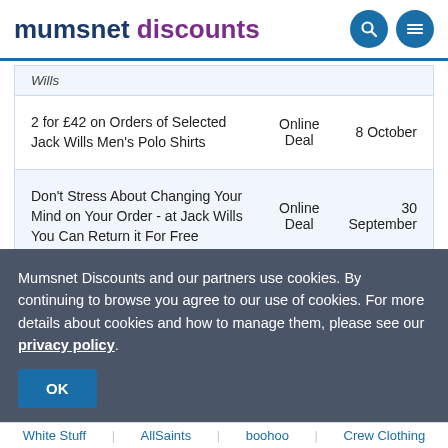mumsnet discounts
| Deal | Type | Expiry |
| --- | --- | --- |
| Wills |  |  |
| 2 for £42 on Orders of Selected Jack Wills Men's Polo Shirts | Online Deal | 8 October |
| Don't Stress About Changing Your Mind on Your Order - at Jack Wills You Can Return it For Free | Online Deal | 30 September |
Mumsnet Discounts and our partners use cookies. By continuing to browse you agree to our use of cookies. For more details about cookies and how to manage them, please see our privacy policy.
White Stuff | AllSaints | boohoo | Crew Clothing